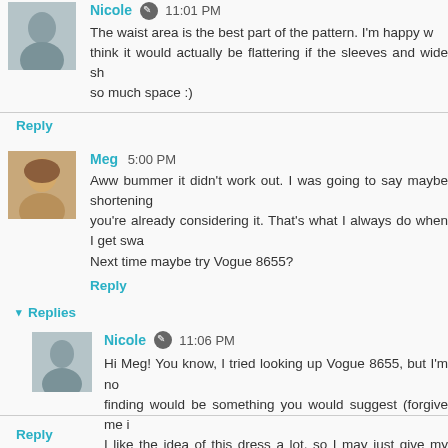The waist area is the best part of the pattern. I'm happy w... think it would actually be flattering if the sleeves and wide sh... so much space :)
Reply
Meg  5:00 PM
Aww bummer it didn't work out. I was going to say maybe shortening... you're already considering it. That's what I always do when I get swa... Next time maybe try Vogue 8655?
Reply
▾ Replies
Nicole  11:06 PM
Hi Meg! You know, I tried looking up Vogue 8655, but I'm no... finding would be something you would suggest (forgive me i... I like the idea of this dress a lot, so I may just give my patte... (in a month, when my classes are done :)
Reply